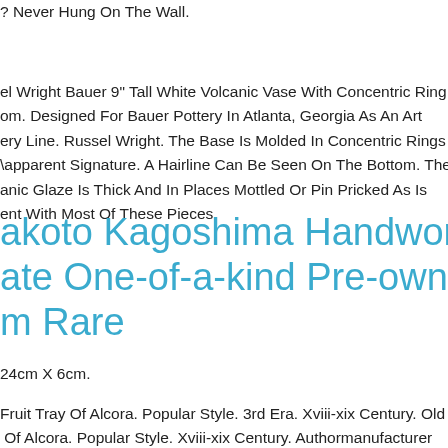? Never Hung On The Wall. el Wright Bauer 9" Tall White Volcanic Vase With Concentric Ring om. Designed For Bauer Pottery In Atlanta, Georgia As An Art ery Line. Russel Wright. The Base Is Molded In Concentric Rings W apparent Signature. A Hairline Can Be Seen On The Bottom. The anic Glaze Is Thick And In Places Mottled Or Pin Pricked As Is ent With Most Of These Pieces.
akoto Kagoshima Handwork Device ate One-of-a-kind Pre-owned 24cm m Rare
24cm X 6cm.
Fruit Tray Of Alcora. Popular Style. 3rd Era. Xviii-xix Century. Old Fi Of Alcora. Popular Style. Xviii-xix Century. Authormanufacturer